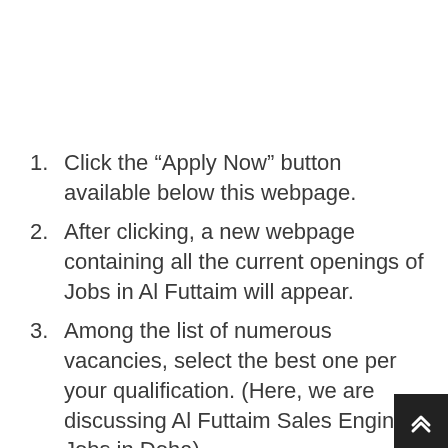Click the “Apply Now” button available below this webpage.
After clicking, a new webpage containing all the current openings of Jobs in Al Futtaim will appear.
Among the list of numerous vacancies, select the best one per your qualification. (Here, we are discussing Al Futtaim Sales Engineer Jobs in Doha).
Cross-check the qualifications and download the online job application form.
Fill in the application by entering your basic details by attaching copies of the required